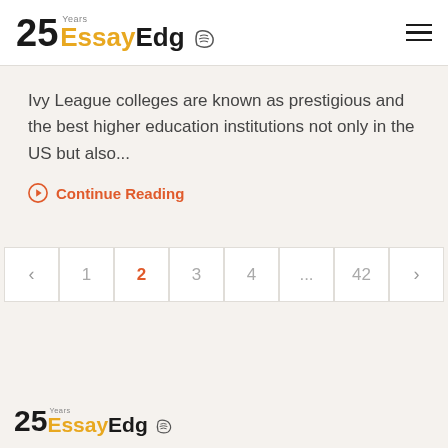25 Years EssayEdge [logo with hamburger menu]
Ivy League colleges are known as prestigious and the best higher education institutions not only in the US but also...
Continue Reading
< 1 2 3 4 ... 42 >
25 Years EssayEdge [footer logo]